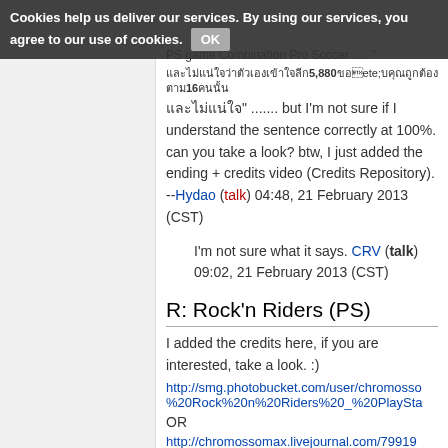Cookies help us deliver our services. By using our services, you agree to our use of cookies. OK
PS game Combination Pro Soccer ....
Thai text ... 5,800 ... 16 ... Thai text ... ...... but I'm not sure if I understand the sentence correctly at 100%. can you take a look? btw, I just added the ending + credits video (Credits Repository). --Hydao (talk) 04:48, 21 February 2013 (CST)
I'm not sure what it says. CRV (talk) 09:02, 21 February 2013 (CST)
R: Rock'n Riders (PS)
I added the credits here, if you are interested, take a look. :)
http://smg.photobucket.com/user/chromossomax/...%20Rock%20n%20Riders%20_%20PlayStation
OR
http://chromossomax.livejournal.com/79919...
--Hydao (talk) 06:20, 3 April 2013